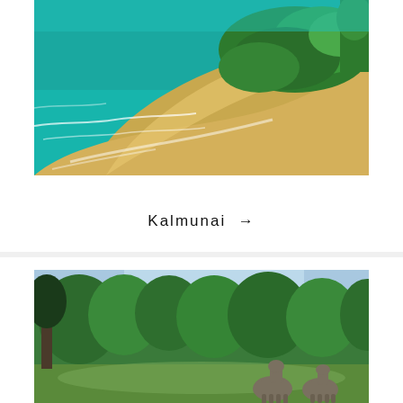[Figure (photo): Aerial photo of a tropical beach with turquoise water, sandy shore, and dense green forest forming a peninsula or spit shape. Waves breaking on the sand.]
Kalmunai →
[Figure (photo): Photo of a wildlife scene with elephants in the foreground near a water body, surrounded by lush green trees and a partly cloudy sky. A chat widget overlay is visible.]
Questions? We can help. Chat with us now.